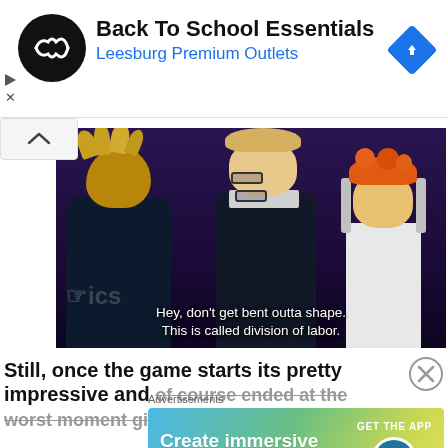[Figure (screenshot): Advertisement banner for Back To School Essentials at Leesburg Premium Outlets, with circular logo and navigation arrow icon]
Back To School Essentials
Leesburg Premium Outlets
[Figure (screenshot): Anime screenshot from Haikyuu showing three characters in a dark setting with subtitle text: 'Hey, don't get bent outta shape. This is called division of labor.']
Still, once the game starts its pretty impressive and of course ended at the worst moment given I
Advertisements
[Figure (screenshot): WordPress advertisement banner with gradient background reading 'Create immersive stories.' with GET THE APP button and WordPress logo]